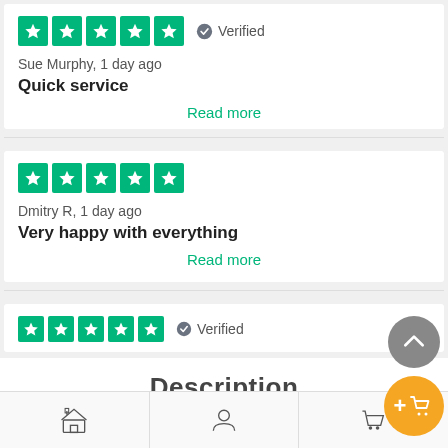[Figure (other): 5-star Trustpilot rating with Verified badge, review by Sue Murphy]
Sue Murphy, 1 day ago
Quick service
Read more
[Figure (other): 5-star Trustpilot rating, review by Dmitry R]
Dmitry R, 1 day ago
Very happy with everything
Read more
[Figure (other): 5-star Trustpilot rating with Verified badge]
Description
[Figure (other): Bottom navigation bar with store, user profile, and cart icons]